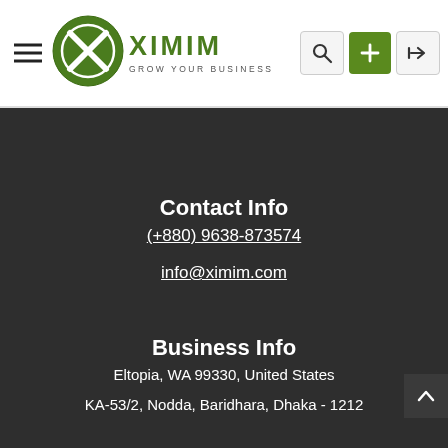[Figure (logo): XIMIM logo with circular X emblem and tagline GROW YOUR BUSINESS]
Contact Info
(+880) 9638-873574
info@ximim.com
Business Info
Eltopia, WA 99330, United States
KA-53/2, Nodda, Baridhara, Dhaka - 1212